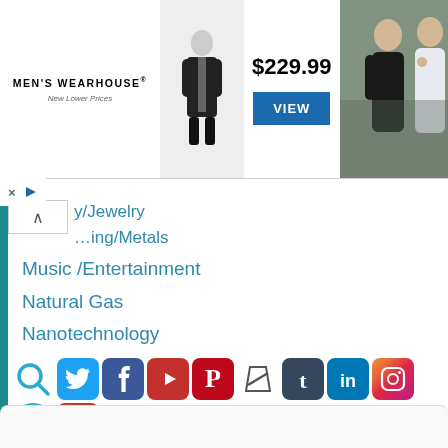[Figure (screenshot): Men's Wearhouse advertisement banner showing a tuxedo model, $229.99 price, VIEW button, and a wedding couple photo on the right]
Toy/Jewelry (partially cut off at top)
Mining/Metals
Music /Entertainment
Natural Gas
Nanotechnology
Renewable Energy/Cleantech
Sports
Technology
Toys
Water
Wine
[Figure (screenshot): Row of social media icons: Search, Twitter, Facebook, YouTube, Pinterest, Slashdot, Tumblr, LinkedIn, Instagram, Telegram, Torch/alert icon, RSS feed icon]